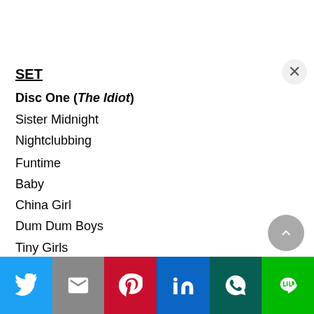SET
Disc One (The Idiot)
Sister Midnight
Nightclubbing
Funtime
Baby
China Girl
Dum Dum Boys
Tiny Girls
Mass Production